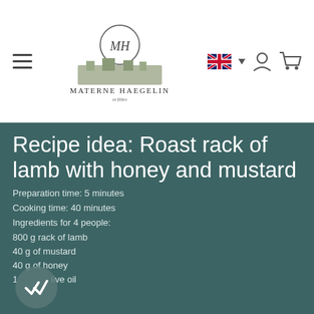[Figure (logo): Materne Haegelin et filles logo with MH monogram and building illustration]
Recipe idea: Roast rack of lamb with honey and mustard
Preparation time: 5 minutes
Cooking time: 40 minutes
Ingredients for 4 people:
800 g rack of lamb
40 g of mustard
40 g of honey
1 cl olive oil